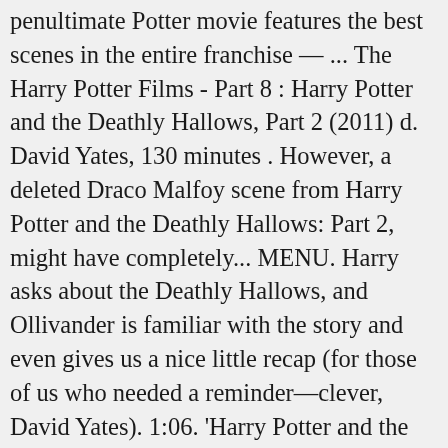penultimate Potter movie features the best scenes in the entire franchise — ... The Harry Potter Films - Part 8 : Harry Potter and the Deathly Hallows, Part 2 (2011) d. David Yates, 130 minutes . However, a deleted Draco Malfoy scene from Harry Potter and the Deathly Hallows: Part 2, might have completely... MENU. Harry asks about the Deathly Hallows, and Ollivander is familiar with the story and even gives us a nice little recap (for those of us who needed a reminder—clever, David Yates). 1:06. 'Harry Potter and the Deathly Hallows' sees Harry, Ron and Hermione begin a mission to destroy the Horcruxes. Matthew Lewis is looking back on his time as Neville Longbottom in the Harry Potter movies. The Deathly Hallows. While this scene was cut from Deathly Hallows Part 1, on the bright side, it exists in movie-bonus-content canon. Harry asks Ollivander if he believes in the Hallows, and the wandmaker says he "sees no reason" to believe that stuff, but Harry... For young Hollywood news